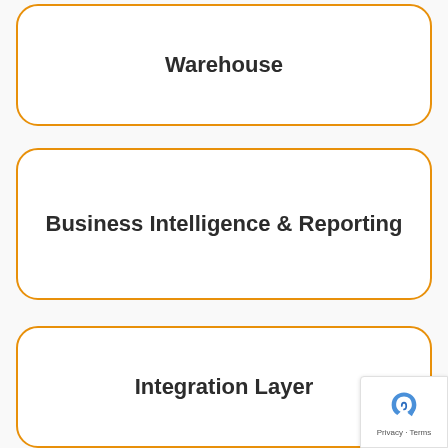[Figure (flowchart): Architecture diagram showing three stacked rounded-rectangle boxes with orange borders on a light gray background. From top to bottom: 'Warehouse', 'Business Intelligence & Reporting', 'Integration Layer'.]
Warehouse
Business Intelligence & Reporting
Integration Layer